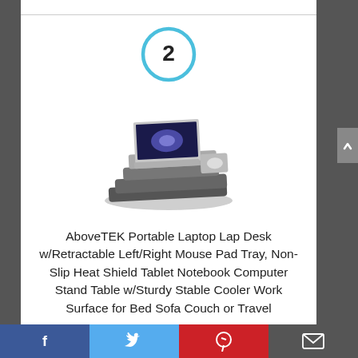[Figure (other): Blue circle with number 2 inside]
[Figure (photo): AboveTEK Portable Laptop Lap Desk product photo showing laptop stand with retractable mouse pad tray]
AboveTEK Portable Laptop Lap Desk w/Retractable Left/Right Mouse Pad Tray, Non-Slip Heat Shield Tablet Notebook Computer Stand Table w/Sturdy Stable Cooler Work Surface for Bed Sofa Couch or Travel
By AboveTEK